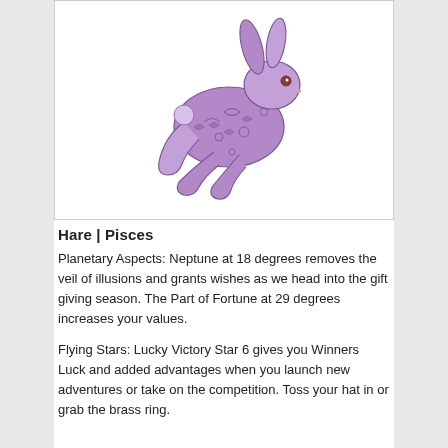[Figure (illustration): A stylized illustration of a running hare rendered in purple/violet tones with intricate floral and decorative patterns covering its body. The hare is leaping with legs extended.]
Hare | Pisces
Planetary Aspects: Neptune at 18 degrees removes the veil of illusions and grants wishes as we head into the gift giving season. The Part of Fortune at 29 degrees increases your values.
Flying Stars: Lucky Victory Star 6 gives you Winners Luck and added advantages when you launch new adventures or take on the competition. Toss your hat in or grab the brass ring.